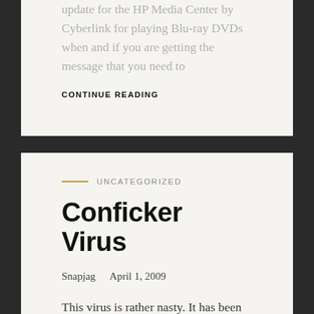update for the HP Media Center by Cyberlink for playing Blu-ray DVDs when and if you are getting the message that you need to
CONTINUE READING
UNCATEGORIZED
Conficker Virus
Snapjag    April 1, 2009
This virus is rather nasty. It has been deemed one of the worst virus' since